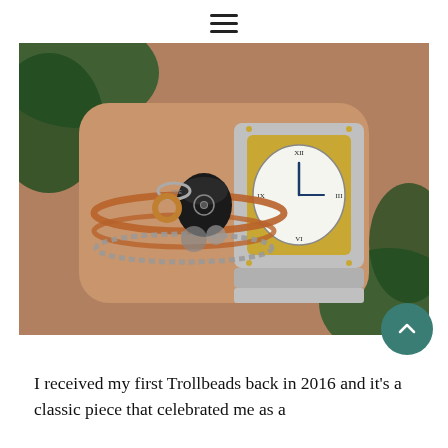≡
[Figure (photo): Close-up photo of a wrist wearing a Cartier Santos watch with gold and silver bracelet, alongside copper bangles and Trollbeads charm beads with a black mushroom-shaped bead and floral silver charms. Green plant leaves visible in the background.]
I received my first Trollbeads back in 2016 and it's a classic piece that celebrated me as a